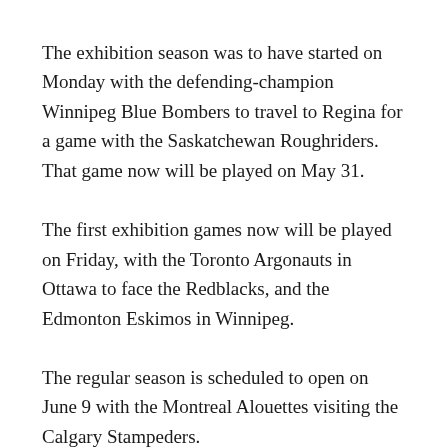The exhibition season was to have started on Monday with the defending-champion Winnipeg Blue Bombers to travel to Regina for a game with the Saskatchewan Roughriders. That game now will be played on May 31.
The first exhibition games now will be played on Friday, with the Toronto Argonauts in Ottawa to face the Redblacks, and the Edmonton Eskimos in Winnipeg.
The regular season is scheduled to open on June 9 with the Montreal Alouettes visiting the Calgary Stampeders.